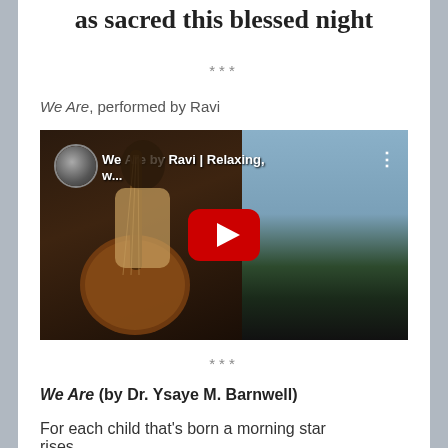as sacred this blessed night
***
We Are, performed by Ravi
[Figure (screenshot): YouTube video embed showing 'We Are by Ravi | Relaxing, w...' with a musician playing an African string instrument on the left and a road/sky scene on the right. A red YouTube play button is centered.]
***
We Are (by Dr. Ysaye M. Barnwell)
For each child that's born a morning star rises